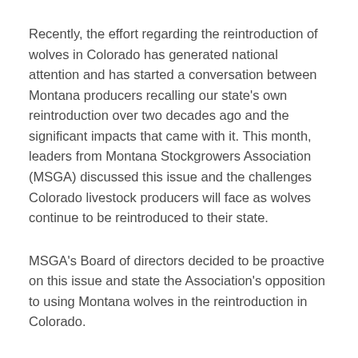Recently, the effort regarding the reintroduction of wolves in Colorado has generated national attention and has started a conversation between Montana producers recalling our state's own reintroduction over two decades ago and the significant impacts that came with it. This month, leaders from Montana Stockgrowers Association (MSGA) discussed this issue and the challenges Colorado livestock producers will face as wolves continue to be reintroduced to their state.
MSGA's Board of directors decided to be proactive on this issue and state the Association's opposition to using Montana wolves in the reintroduction in Colorado.
In a letter sent to Montana Fish, Wildlife and Parks (FWP), MSGA shared concerns for Colorado livestock producers who have no available tools in